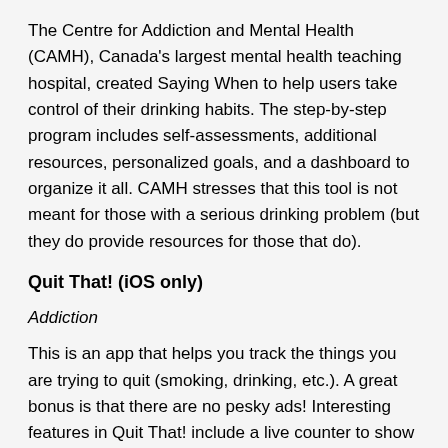The Centre for Addiction and Mental Health (CAMH), Canada's largest mental health teaching hospital, created Saying When to help users take control of their drinking habits. The step-by-step program includes self-assessments, additional resources, personalized goals, and a dashboard to organize it all. CAMH stresses that this tool is not meant for those with a serious drinking problem (but they do provide resources for those that do).
Quit That! (iOS only)
Addiction
This is an app that helps you track the things you are trying to quit (smoking, drinking, etc.). A great bonus is that there are no pesky ads! Interesting features in Quit That! include a live counter to show your progress, a calculator to see how much money you saved since quitting, a schedule maker